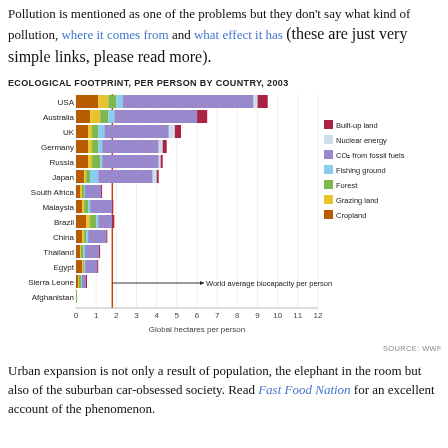Pollution is mentioned as one of the problems but they don't say what kind of pollution, where it comes from and what effect it has (these are just very simple links, please read more).
[Figure (stacked-bar-chart): ECOLOGICAL FOOTPRINT, PER PERSON BY COUNTRY, 2003]
Urban expansion is not only a result of population, the elephant in the room but also of the suburban car-obsessed society. Read Fast Food Nation for an excellent account of the phenomenon.